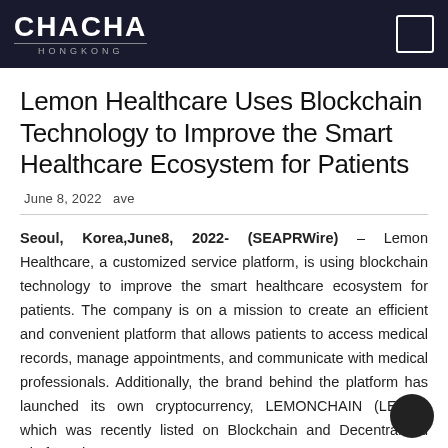CHACHA HONGKONG
Lemon Healthcare Uses Blockchain Technology to Improve the Smart Healthcare Ecosystem for Patients
June 8, 2022   ave
Seoul, Korea,June8, 2022- (SEAPRWire) – Lemon Healthcare, a customized service platform, is using blockchain technology to improve the smart healthcare ecosystem for patients. The company is on a mission to create an efficient and convenient platform that allows patients to access medical records, manage appointments, and communicate with medical professionals. Additionally, the brand behind the platform has launched its own cryptocurrency, LEMONCHAIN (LEMC), which was recently listed on Blockchain and Decentralized Platform...